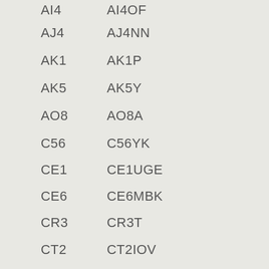AI4   AI4OF
AJ4   AJ4NN
AK1   AK1P
AK5   AK5Y
AO8   AO8A
C56   C56YK
CE1   CE1UGE
CE6   CE6MBK
CR3   CR3T
CT2   CT2IOV